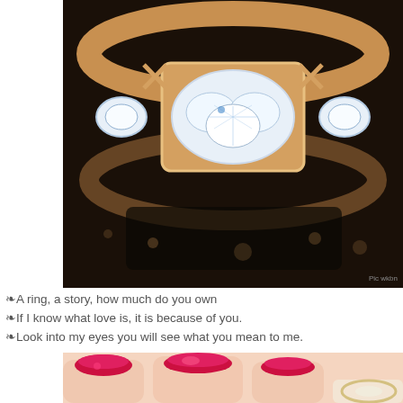[Figure (photo): Close-up photo of a diamond ring with rose gold setting, featuring multiple round diamonds, on a dark background]
❧A ring, a story, how much do you own
❧If I know what love is, it is because of you.
❧Look into my eyes you will see what you mean to me.
[Figure (photo): Close-up photo of fingers with bright red nail polish, wearing a ring]